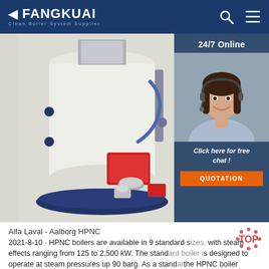FANGKUAI — Clean Boiler System Supplier
[Figure (photo): Industrial boiler unit (Alfa Laval Aalborg HPNC) — white cylindrical body with red burner assembly and blue piping, on dark blue base. Side panel shows customer service agent with headset, 24/7 Online label, 'Click here for free chat!' text, and orange QUOTATION button.]
Alfa Laval - Aalborg HPNC
2021-8-10 · HPNC boilers are available in 9 standard sizes, with steam effects ranging from 125 to 2,500 kW. The standard boiler is designed to operate at steam pressures up 90 barg. As a standard the HPNC boiler systems are fitted with all the ancillary equipment required for safe, reliable operation. This includes bursting disc...